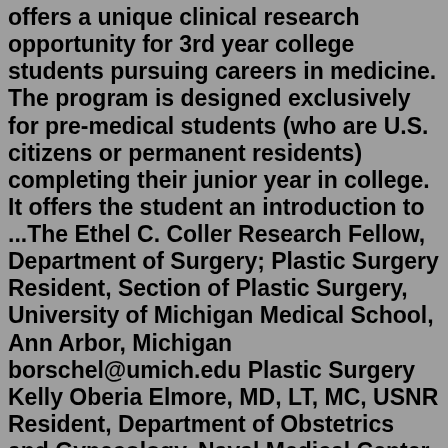offers a unique clinical research opportunity for 3rd year college students pursuing careers in medicine. The program is designed exclusively for pre-medical students (who are U.S. citizens or permanent residents) completing their junior year in college. It offers the student an introduction to ...The Ethel C. Coller Research Fellow, Department of Surgery; Plastic Surgery Resident, Section of Plastic Surgery, University of Michigan Medical School, Ann Arbor, Michigan borschel@umich.edu Plastic Surgery Kelly Oberia Elmore, MD, LT, MC, USNR Resident, Department of Obstetrics and Gynecology, Naval Medical Center, San Diego, CaliforniaApplication process and timeline Application and instructions can be found here. Applications will close December 1 for positions that start the following July/August Applications and a CV should be submitted to debby.noble@utsouthwestern.edu. Interviews with faculty via phone, skype or in person (if local) will be scheduled for January-February.Global Surgery Research Program Director: Henry Rice, MD, Head